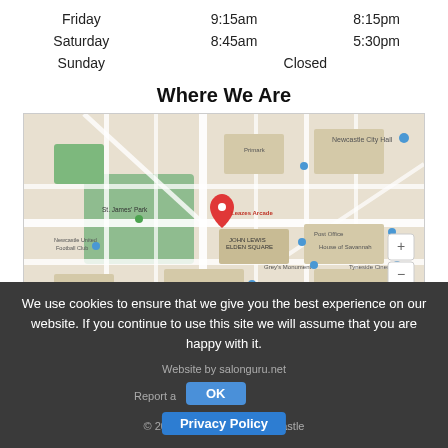| Friday | 9:15am | 8:15pm |
| Saturday | 8:45am | 5:30pm |
| Sunday | Closed |  |
Where We Are
[Figure (map): Google Maps showing Leazes Arcade area in Newcastle, with landmarks including Newcastle City Hall, St. James' Park, Newcastle United Football Club, John Lewis Elden Square, Grey's Monument, Tyneside Cinema, Theatre Royal, and others. A red pin marks Leazes Arcade.]
We use cookies to ensure that we give you the best experience on our website. If you continue to use this site we will assume that you are happy with it.
Website by salonguru.net
Report a website issue
© 2022 House of Savannah Newcastle